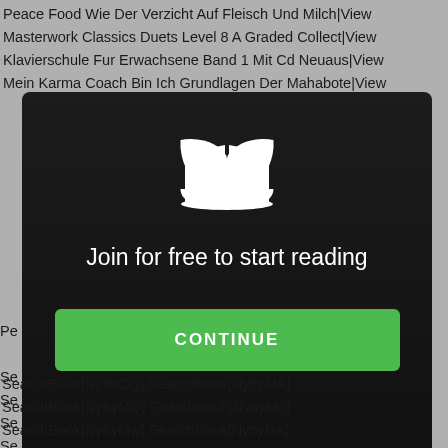Peace Food Wie Der Verzicht Auf Fleisch Und Milch|View
Masterwork Classics Duets Level 8 A Graded Collect|View
Klavierschule Fur Erwachsene Band 1 Mit Cd Neuaus|View
Mein Karma Coach Bin Ich Grundlagen Der Mahabote|View
[Figure (screenshot): Modal dialog with dark background, book icon, 'Join for free to start reading' text, and a green CONTINUE button]
SearchBook[Ny8xOQ] SearchBook[Ny8yMA]
SearchBook[Ny8yMQ] SearchBook[Ny8yMg]
SearchBook[Ny8yMw] SearchBook[Ny8yNA]